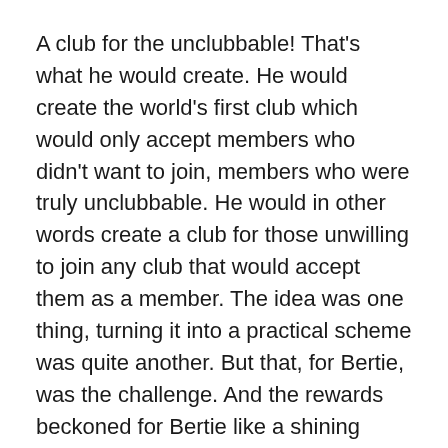A club for the unclubbable! That's what he would create. He would create the world's first club which would only accept members who didn't want to join, members who were truly unclubbable. He would in other words create a club for those unwilling to join any club that would accept them as a member. The idea was one thing, turning it into a practical scheme was quite another. But that, for Bertie, was the challenge. And the rewards beckoned for Bertie like a shining beacon on a golden hilltop. At least that's the way that Bertie visualized things. But he knew he was at base camp and the climb that lay ahead was steep and possibly long.
He was not a gifted thinker, but he did have thoughts, and the first of these was to place an advertisement in the local newspaper. Although a man of strictly limited means, it was his only hope of starting the climb which would take